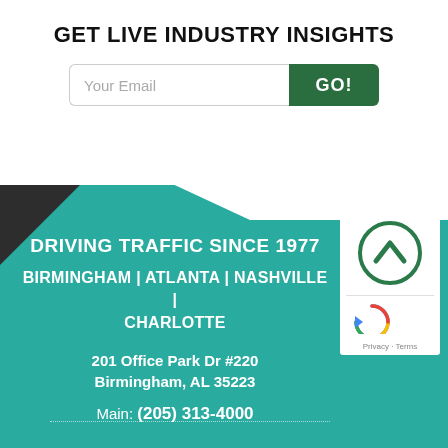GET LIVE INDUSTRY INSIGHTS
Your Email [input field] GO!
DRIVING TRAFFIC SINCE 1977
BIRMINGHAM | ATLANTA | NASHVILLE | CHARLOTTE
201 Office Park Dr #220
Birmingham, AL 35223
Main: (205) 313-4000
[Figure (logo): Company logo: green circle with upward chevron/arrow symbol]
[Figure (other): Google reCAPTCHA widget with Privacy and Terms text]